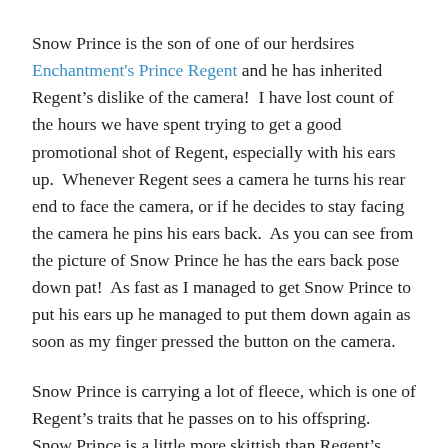Snow Prince is the son of one of our herdsires Enchantment's Prince Regent and he has inherited Regent's dislike of the camera!  I have lost count of the hours we have spent trying to get a good promotional shot of Regent, especially with his ears up.  Whenever Regent sees a camera he turns his rear end to face the camera, or if he decides to stay facing the camera he pins his ears back.  As you can see from the picture of Snow Prince he has the ears back pose down pat!  As fast as I managed to get Snow Prince to put his ears up he managed to put them down again as soon as my finger pressed the button on the camera.
Snow Prince is carrying a lot of fleece, which is one of Regent's traits that he passes on to his offspring.  Snow Prince is a little more skittish than Regent's offspring usually are, typically Regent's offspring are curious and friendly, Snow Prince is curious but seems to spook easily.  Part of his behavior may be